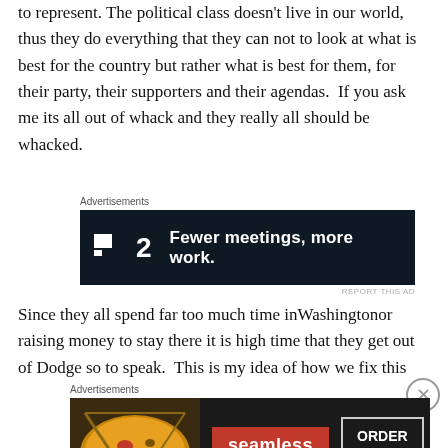to represent. The political class doesn't live in our world, thus they do everything that they can not to look at what is best for the country but rather what is best for them, for their party, their supporters and their agendas.  If you ask me its all out of whack and they really all should be whacked.
[Figure (other): Advertisement banner for F2 with dark background and tagline 'Fewer meetings, more work.']
Since they all spend far too much time inWashingtonor raising money to stay there it is high time that they get out of Dodge so to speak.  This is my idea of how we fix this
[Figure (other): Advertisement banner for Seamless food delivery showing pizza image, Seamless logo, and ORDER NOW button]